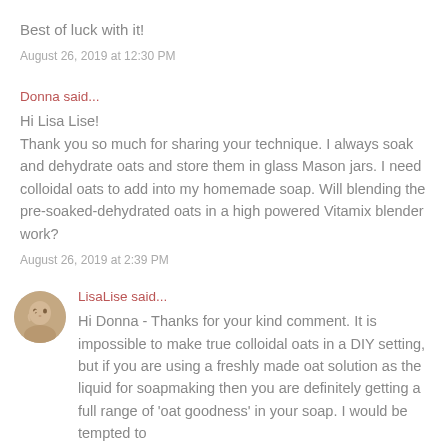Best of luck with it!
August 26, 2019 at 12:30 PM
Donna said...
Hi Lisa Lise!
Thank you so much for sharing your technique. I always soak and dehydrate oats and store them in glass Mason jars. I need colloidal oats to add into my homemade soap. Will blending the pre-soaked-dehydrated oats in a high powered Vitamix blender work?
August 26, 2019 at 2:39 PM
LisaLise said...
Hi Donna - Thanks for your kind comment. It is impossible to make true colloidal oats in a DIY setting, but if you are using a freshly made oat solution as the liquid for soapmaking then you are definitely getting a full range of 'oat goodness' in your soap. I would be tempted to